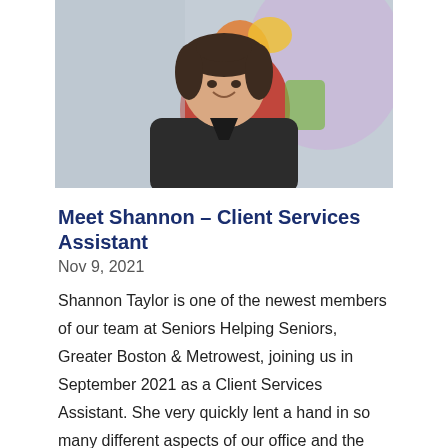[Figure (photo): A smiling young woman with dark hair pulled back, wearing a dark zip-up jacket, seated in front of a colorful abstract painting. The photo is taken indoors in an office setting.]
Meet Shannon – Client Services Assistant
Nov 9, 2021
Shannon Taylor is one of the newest members of our team at Seniors Helping Seniors, Greater Boston & Metrowest, joining us in September 2021 as a Client Services Assistant. She very quickly lent a hand in so many different aspects of our office and the